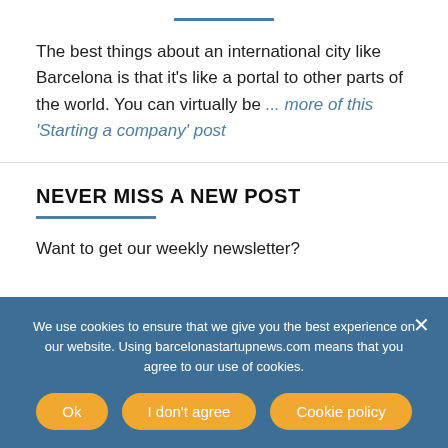The best things about an international city like Barcelona is that it's like a portal to other parts of the world. You can virtually be ... more of this 'Starting a company' post
NEVER MISS A NEW POST
Want to get our weekly newsletter?
We use cookies to ensure that we give you the best experience on our website. Using barcelonastartupnews.com means that you agree to our use of cookies.